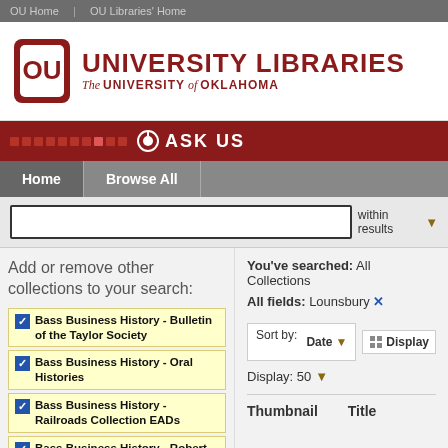OU Home | OU Libraries' Home
[Figure (logo): University of Oklahoma University Libraries logo with OU shield icon]
ASK US
Home | Browse All
within results
Add or remove other collections to your search:
Bass Business History - Bulletin of the Taylor Society
Bass Business History - Oral Histories
Bass Business History - Railroads Collection EADs
Bass Business History - Robert Kahn's Retailing Today
Bass Business History - Western
You've searched: All Collections
All fields: Lounsbury ✕
Sort by: Date ▼
Display
Display: 50 ▼
Thumbnail   Title